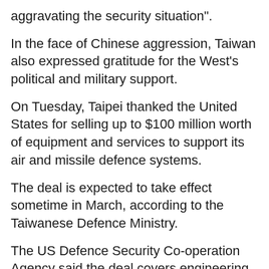aggravating the security situation".
In the face of Chinese aggression, Taiwan also expressed gratitude for the West's political and military support.
On Tuesday, Taipei thanked the United States for selling up to $100 million worth of equipment and services to support its air and missile defence systems.
The deal is expected to take effect sometime in March, according to the Taiwanese Defence Ministry.
The US Defence Security Co-operation Agency said the deal covers engineering support and maintenance of air defence systems and will "ensure readiness for air operations".